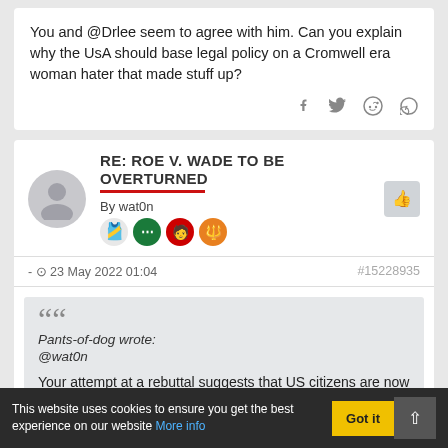You and @Drlee seem to agree with him. Can you explain why the UsA should base legal policy on a Cromwell era woman hater that made stuff up?
RE: ROE V. WADE TO BE OVERTURNED
By wat0n
- 23 May 2022 01:04
#15228935
Pants-of-dog wrote: @wat0n
Your attempt at a rebuttal suggests that US citizens are now going to be subject to a law that was
This website uses cookies to ensure you get the best experience on our website More info